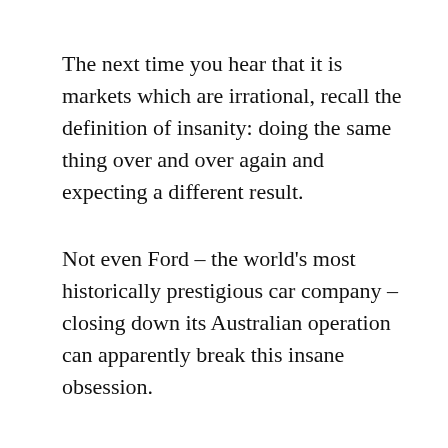The next time you hear that it is markets which are irrational, recall the definition of insanity: doing the same thing over and over again and expecting a different result.
Not even Ford – the world's most historically prestigious car company – closing down its Australian operation can apparently break this insane obsession.
But then again, Ford had to be enticed to come to Australia in the first place. Only after government negotiators promised the company assistance did Ford set up shop in Geelong in 1925. Since then it has been